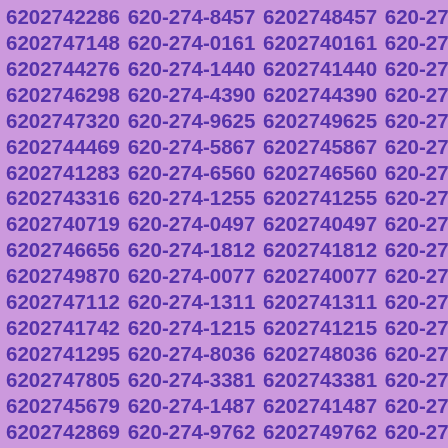6202742286 620-274-8457 6202748457 620-274-7148
6202747148 620-274-0161 6202740161 620-274-4276
6202744276 620-274-1440 6202741440 620-274-6298
6202746298 620-274-4390 6202744390 620-274-7320
6202747320 620-274-9625 6202749625 620-274-4469
6202744469 620-274-5867 6202745867 620-274-1283
6202741283 620-274-6560 6202746560 620-274-3316
6202743316 620-274-1255 6202741255 620-274-0719
6202740719 620-274-0497 6202740497 620-274-6656
6202746656 620-274-1812 6202741812 620-274-9870
6202749870 620-274-0077 6202740077 620-274-7112
6202747112 620-274-1311 6202741311 620-274-1742
6202741742 620-274-1215 6202741215 620-274-1295
6202741295 620-274-8036 6202748036 620-274-7805
6202747805 620-274-3381 6202743381 620-274-5679
6202745679 620-274-1487 6202741487 620-274-2869
6202742869 620-274-9762 6202749762 620-274-3890
6202743890 620-274-0835 6202740835 620-274-8852
6202748852 620-274-4429 6202744429 620-274-3828
6202743828 620-274-6907 6202746907 620-274-2007
6202742007 620-274-9652 6202749652 620-274-2068